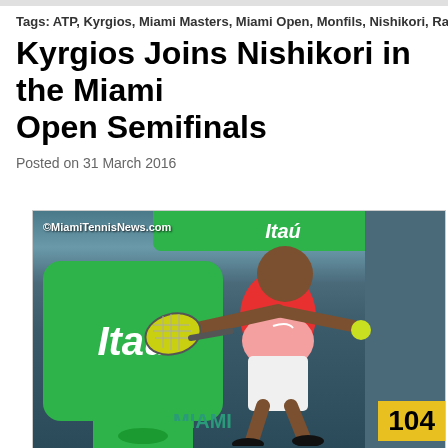Tags: ATP, Kyrgios, Miami Masters, Miami Open, Monfils, Nishikori, Ra
Kyrgios Joins Nishikori in the Miami Open Semifinals
Posted on 31 March 2016
[Figure (photo): Nick Kyrgios hitting a forehand on the Miami Open court with Itaú sponsorship boards visible in the background. Copyright MiamiTennisNews.com.]